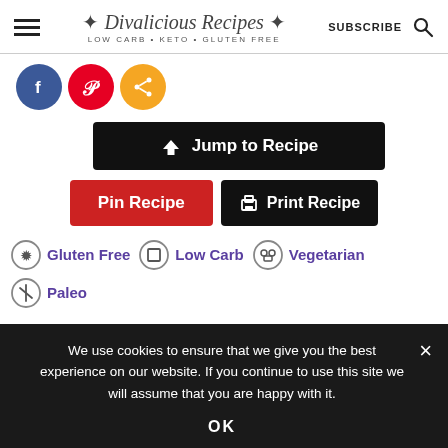Divalicious Recipes LOW CARB - KETO - GLUTEN FREE | SUBSCRIBE
[Figure (screenshot): Social share icons: Facebook (blue circle), Pinterest (red circle), Share (orange circle)]
Jump to Recipe
Pin Recipe   Print Recipe
Gluten Free
Low Carb
Vegetarian
Paleo
We use cookies to ensure that we give you the best experience on our website. If you continue to use this site we will assume that you are happy with it.
OK